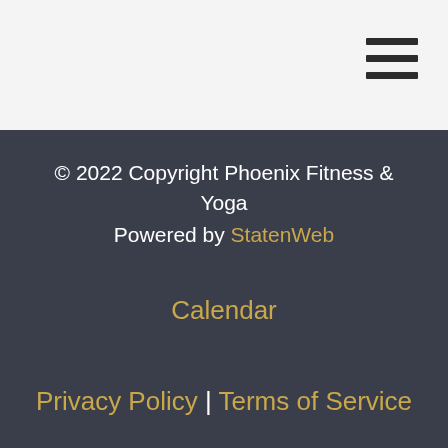[Figure (other): Hamburger menu icon with three horizontal dark bars in the top-right corner of the light grey header area]
© 2022 Copyright Phoenix Fitness & Yoga
Powered by StatenWeb
Calendar
Privacy Policy | Terms of Service